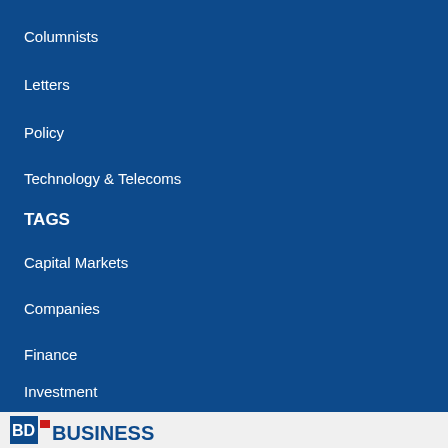Columnists
Letters
Policy
Technology & Telecoms
TAGS
Capital Markets
Companies
Finance
Investment
Trade & Industry
[Figure (logo): BDO Business logo at bottom]